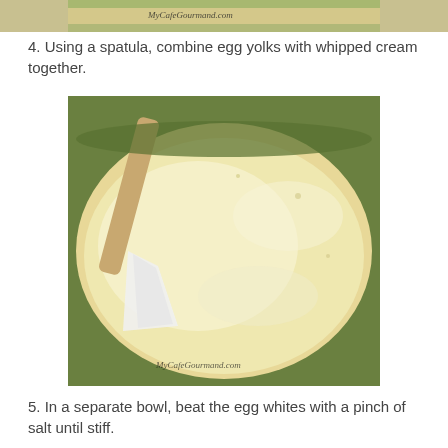[Figure (photo): Top cropped photo showing a bowl with cream mixture and watermark MyCafeGourmand.com]
4. Using a spatula, combine egg yolks with whipped cream together.
[Figure (photo): Photo of a bowl with creamy yellow egg yolk and whipped cream mixture being stirred with a white spatula, watermark MyCafeGourmand.com]
5. In a separate bowl, beat the egg whites with a pinch of salt until stiff.
[Figure (photo): Photo of a wire whisk in a bowl of stiff beaten egg whites]